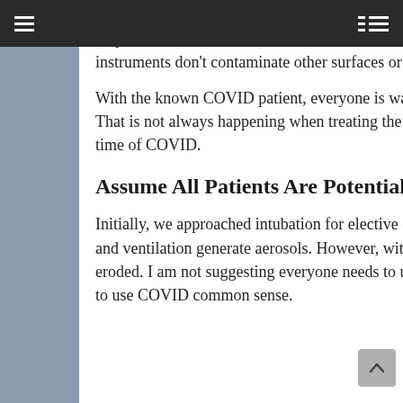helpers who hand as instruments and who immediately take them back once used — ensuring those now soiled instruments don't contaminate other surfaces or infect other people.
With the known COVID patient, everyone is watching everyone else's back for possible cross contamination. That is not always happening when treating the elective surgery patient. We need to use common sense in the time of COVID.
Assume All Patients Are Potentially Infectious
Initially, we approached intubation for elective cases with many of the same precautions because intubation and ventilation generate aerosols. However, with time that fear factor during elective cases has definitely eroded. I am not suggesting everyone needs to use a PAPR for every intubation. I am suggesting that you need to use COVID common sense.